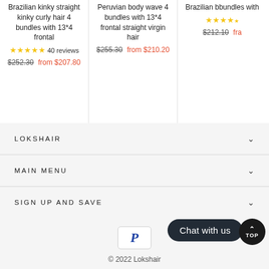Brazilian kinky straight kinky curly hair 4 bundles with 13*4 frontal — ★★★★★ 40 reviews — $252.30 from $207.80
Peruvian body wave 4 bundles with 13*4 frontal straight virgin hair — $255.30 from $210.20
Brazilian b... bundles with... $212.10 fra...
LOKSHAIR
MAIN MENU
SIGN UP AND SAVE
[Figure (logo): PayPal logo letter P in blue italic]
Chat with us
© 2022 Lokshair